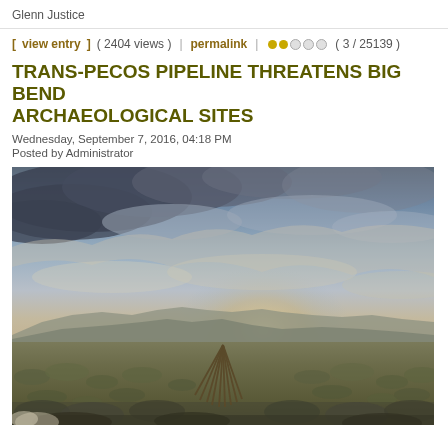Glenn Justice
[ view entry ] ( 2404 views )   |   permalink   |   ●●○○○ ( 3 / 25139 )
TRANS-PECOS PIPELINE THREATENS BIG BEND ARCHAEOLOGICAL SITES
Wednesday, September 7, 2016, 04:18 PM
Posted by Administrator
[Figure (photo): Landscape photograph of the Big Bend desert region showing a dramatic cloudy sky over scrubland with a traditional wooden tipi structure in the foreground center, mountains visible in the background distance.]